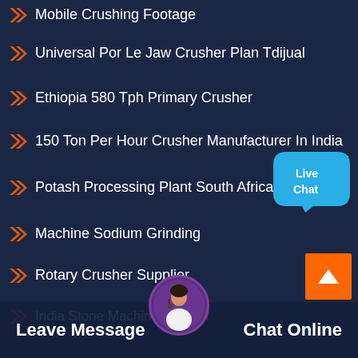Mobile Crushing Footage
Universal Por Le Jaw Crusher Plan Tdijual
Ethiopia 580 Tph Primary Crusher
150 Ton Per Hour Crusher Manufacturer In India
Potash Processing Plant South Africa
Machine Sodium Grinding
Rotary Crusher Supplier
India Stone Machinesapplyer
Puzzolana Jaw Crusher
Small Al Impac Tcrusher Pro...ysia
Leave Message
Chat Online